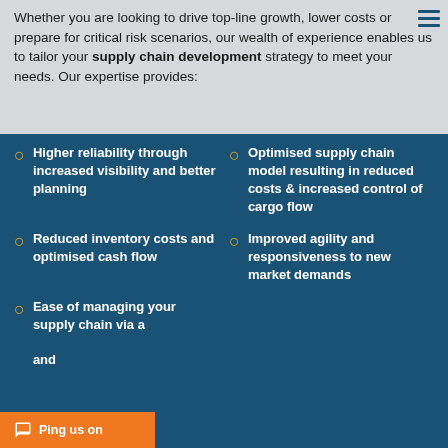Whether you are looking to drive top-line growth, lower costs or prepare for critical risk scenarios, our wealth of experience enables us to tailor your supply chain development strategy to meet your needs. Our expertise provides:
Higher reliability through increased visibility and better planning
Optimised supply chain model resulting in reduced costs & increased control of cargo flow
Reduced inventory costs and optimised cash flow
Improved agility and responsiveness to new market demands
Ease of managing your supply chain via a ... and